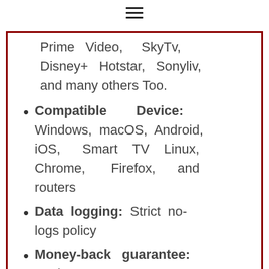≡
Prime Video, SkyTv, Disney+ Hotstar, Sonyliv, and many others Too.
Compatible Device: Windows, macOS, Android, iOS, Smart TV Linux, Chrome, Firefox, and routers
Data logging: Strict no-logs policy
Money-back guarantee: 30 days
Don't Miss